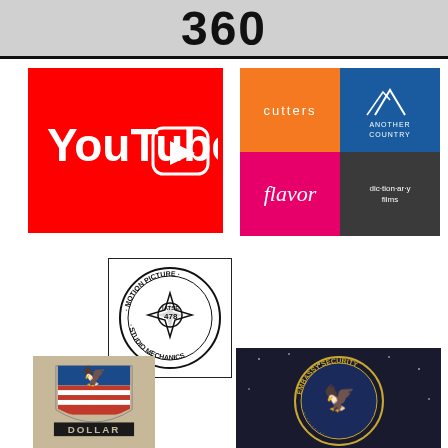[Figure (logo): 360 header banner text]
[Figure (logo): YouTube logo on red background with play button icon]
[Figure (logo): Four-quadrant logo grid: cutters (orange), Another Country (blue), Flavor (pink), dic·tion·ar·y films (dark gray)]
[Figure (logo): IATSE Motion Picture Studio Mechanics Local 478 circular emblem logo]
[Figure (logo): Dollar logo with eagle shield emblem]
[Figure (logo): Embassy Security circular seal logo on dark background]